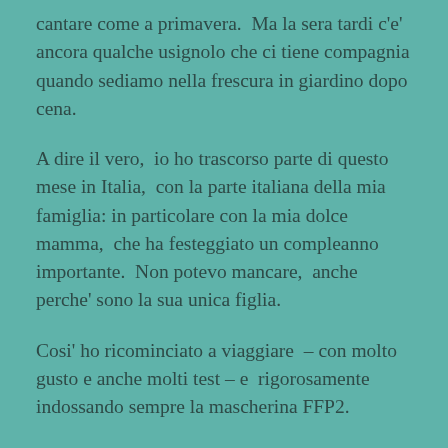cantare come a primavera.  Ma la sera tardi c'e' ancora qualche usignolo che ci tiene compagnia quando sediamo nella frescura in giardino dopo cena.
A dire il vero,  io ho trascorso parte di questo mese in Italia,  con la parte italiana della mia famiglia:  in particolare con la mia dolce mamma,  che ha festeggiato un compleanno importante.  Non potevo mancare,  anche perche' sono la sua unica figlia.
Cosi' ho ricominciato a viaggiare  – con molto gusto e anche molti test – e  rigorosamente indossando sempre la mascherina FFP2.
Al rientro in Finlandia ho fatto una lunga coda al